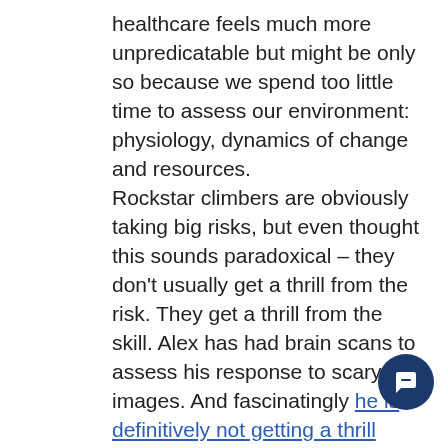healthcare feels much more unpredicatable but might be only so because we spend too little time to assess our environment: physiology, dynamics of change and resources. Rockstar climbers are obviously taking big risks, but even thought this sounds paradoxical – they don't usually get a thrill from the risk. They get a thrill from the skill. Alex has had brain scans to assess his response to scary images. And fascinatingly he is definitively not getting a thrill from hights. The special thing about climbers taking risks is that by enlarge they take risks after a lot of preparation, careful evaluation and only with
[Figure (illustration): Dark navy blue circular chat bubble icon in bottom right area]